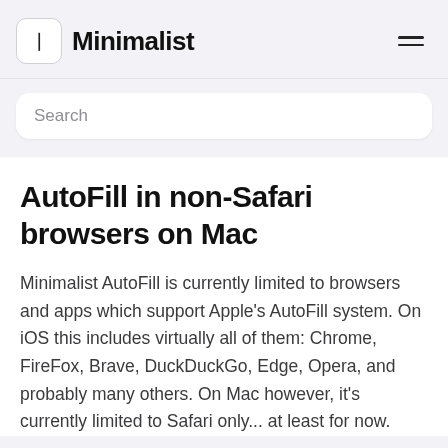Minimalist
Search
AutoFill in non-Safari browsers on Mac
Minimalist AutoFill is currently limited to browsers and apps which support Apple's AutoFill system. On iOS this includes virtually all of them: Chrome, FireFox, Brave, DuckDuckGo, Edge, Opera, and probably many others. On Mac however, it's currently limited to Safari only... at least for now.